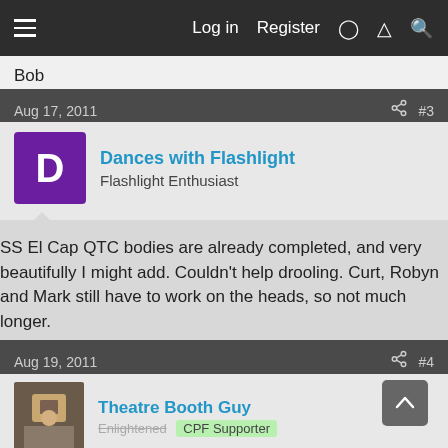Log in  Register
Bob
Aug 17, 2011   #3
Dances with Flashlight
Flashlight Enthusiast
SS El Cap QTC bodies are already completed, and very beautifully I might add. Couldn't help drooling. Curt, Robyn and Mark still have to work on the heads, so not much longer.
Aug 19, 2011   #4
Theatre Booth Guy
Enlightened  CPF Supporter